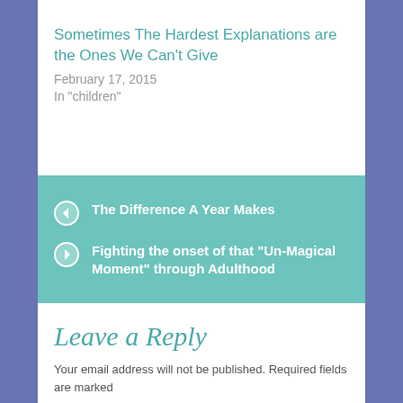Sometimes The Hardest Explanations are the Ones We Can't Give
February 17, 2015
In "children"
The Difference A Year Makes
Fighting the onset of that “Un-Magical Moment” through Adulthood
Leave a Reply
Your email address will not be published. Required fields are marked